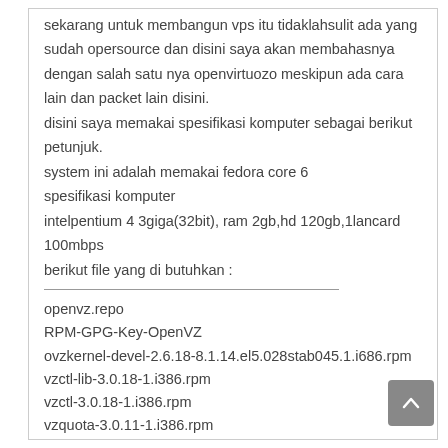sekarang untuk membangun vps itu tidaklahsulit ada yang sudah opersource dan disini saya akan membahasnya dengan salah satu nya openvirtuozo meskipun ada cara lain dan packet lain disini.
disini saya memakai spesifikasi komputer sebagai berikut petunjuk.
system ini adalah memakai fedora core 6
spesifikasi komputer
intelpentium 4 3giga(32bit), ram 2gb,hd 120gb,1lancard 100mbps
berikut file yang di butuhkan :
openvz.repo
RPM-GPG-Key-OpenVZ
ovzkernel-devel-2.6.18-8.1.14.el5.028stab045.1.i686.rpm
vzctl-lib-3.0.18-1.i386.rpm
vzctl-3.0.18-1.i386.rpm
vzquota-3.0.11-1.i386.rpm
vzyum-2.4.0-11.noarch.rpm